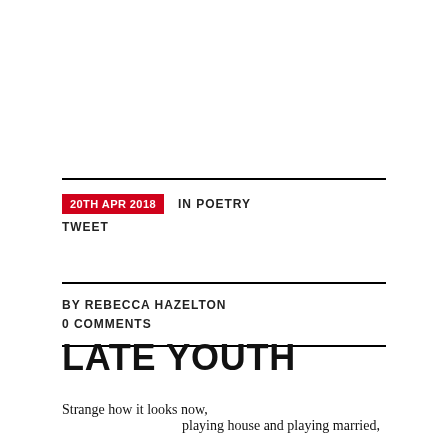20TH APR 2018   IN POETRY
TWEET
BY REBECCA HAZELTON
0 COMMENTS
LATE YOUTH
Strange how it looks now,
                    playing house and playing married,